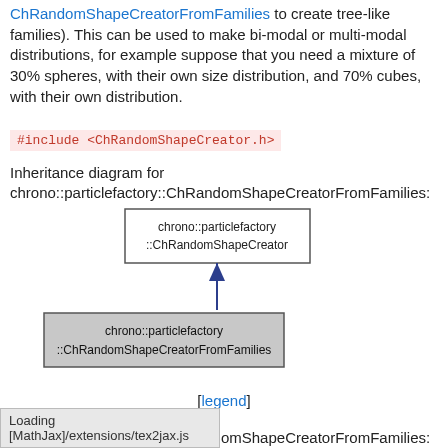ChRandomShapeCreatorFromFamilies to create tree-like families). This can be used to make bi-modal or multi-modal distributions, for example suppose that you need a mixture of 30% spheres, with their own size distribution, and 70% cubes, with their own distribution.
#include <ChRandomShapeCreator.h>
Inheritance diagram for chrono::particlefactory::ChRandomShapeCreatorFromFamilies:
[Figure (engineering-diagram): Inheritance diagram showing chrono::particlefactory::ChRandomShapeCreator box connected by arrow pointing up to chrono::particlefactory::ChRandomShapeCreatorFromFamilies box (highlighted in grey)]
[legend]
Collaboration diagram for chrono::particlefactory::ChRandomShapeCreatorFromFamilies:
[Figure (engineering-diagram): Partial collaboration diagram showing chrono::particlefactory::ChRandomShapeCreator box at top, arrow pointing down (partially visible)]
Loading [MathJax]/extensions/tex2jax.js